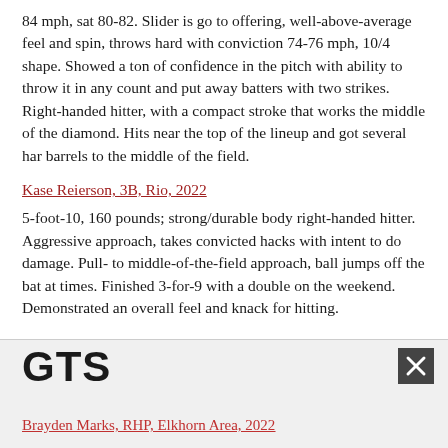84 mph, sat 80-82. Slider is go to offering, well-above-average feel and spin, throws hard with conviction 74-76 mph, 10/4 shape. Showed a ton of confidence in the pitch with ability to throw it in any count and put away batters with two strikes. Right-handed hitter, with a compact stroke that works the middle of the diamond. Hits near the top of the lineup and got several har barrels to the middle of the field.
Kase Reierson, 3B, Rio, 2022
5-foot-10, 160 pounds; strong/durable body right-handed hitter. Aggressive approach, takes convicted hacks with intent to do damage. Pull- to middle-of-the-field approach, ball jumps off the bat at times. Finished 3-for-9 with a double on the weekend. Demonstrated an overall feel and knack for hitting.
[Figure (logo): GTS logo in bold black block letters]
Brayden Marks, RHP, Elkhorn Area, 2022